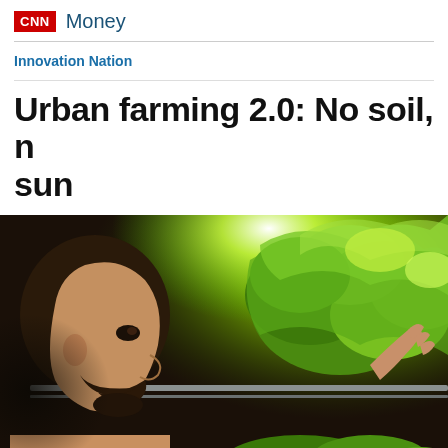CNN Money
Innovation Nation
Urban farming 2.0: No soil, no sun
[Figure (photo): A man with a beard leans in close to examine large green lettuce heads growing on metal shelving racks under bright grow lights in an indoor vertical farm facility.]